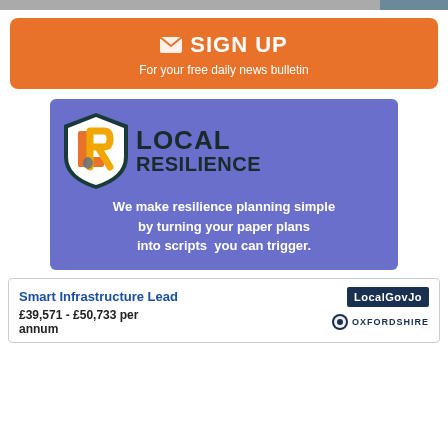[Figure (other): Partial top image strip visible at top right]
✉ SIGN UP
For your free daily news bulletin
[Figure (logo): Local Resilience advertisement with shield logo and text: LOCAL RESILIENCE. We make resilience planning simple by turning your paper plans into scripts you can trigger.]
Smart Infrastructure Lead
£39,571 - £50,733 per annum
[Figure (logo): LocalGovJobs logo and Oxfordshire County Council logo]